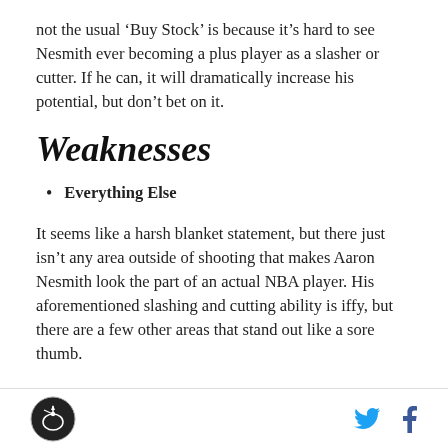not the usual ‘Buy Stock’ is because it’s hard to see Nesmith ever becoming a plus player as a slasher or cutter. If he can, it will dramatically increase his potential, but don’t bet on it.
Weaknesses
Everything Else
It seems like a harsh blanket statement, but there just isn’t any area outside of shooting that makes Aaron Nesmith look the part of an actual NBA player. His aforementioned slashing and cutting ability is iffy, but there are a few other areas that stand out like a sore thumb.